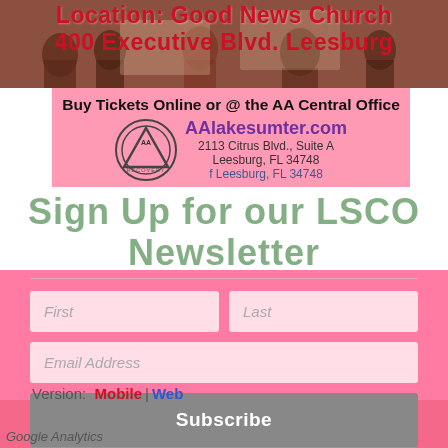Location: Good News Church 400 Executive Blvd. Leesburg
[Figure (screenshot): AA Central Office info box with AA logo, website AAlakesumter.com, address 2113 Citrus Blvd., Suite A, Leesburg, FL 34748, Buy Tickets Online or @ the AA Central Office]
Sign Up for our LSCO Newsletter
First
Last
Email Address
Subscribe
Version:  Mobile | Web
Google Analytics